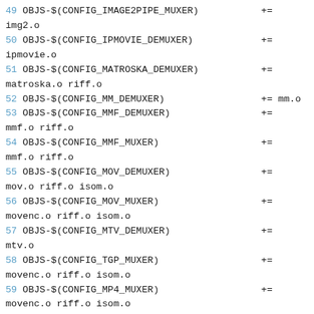49 OBJS-$(CONFIG_IMAGE2PIPE_MUXER)           += img2.o
50 OBJS-$(CONFIG_IPMOVIE_DEMUXER)            += ipmovie.o
51 OBJS-$(CONFIG_MATROSKA_DEMUXER)           += matroska.o riff.o
52 OBJS-$(CONFIG_MM_DEMUXER)                 += mm.o
53 OBJS-$(CONFIG_MMF_DEMUXER)                += mmf.o riff.o
54 OBJS-$(CONFIG_MMF_MUXER)                  += mmf.o riff.o
55 OBJS-$(CONFIG_MOV_DEMUXER)                += mov.o riff.o isom.o
56 OBJS-$(CONFIG_MOV_MUXER)                  += movenc.o riff.o isom.o
57 OBJS-$(CONFIG_MTV_DEMUXER)                += mtv.o
58 OBJS-$(CONFIG_TGP_MUXER)                  += movenc.o riff.o isom.o
59 OBJS-$(CONFIG_MP4_MUXER)                  += movenc.o riff.o isom.o
60 OBJS-$(CONFIG_PSP_MUXER)                  += movenc.o riff.o isom.o
61 OBJS-$(CONFIG_TG2_MUXER)                  += movenc.o riff.o isom.o